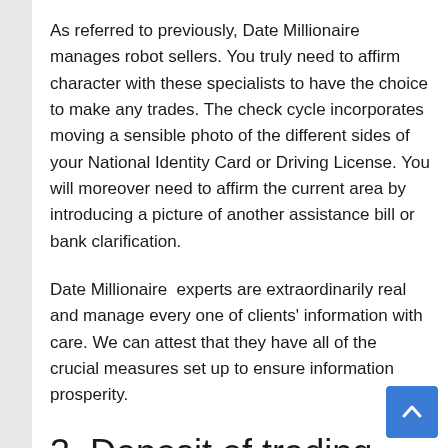As referred to previously, Date Millionaire manages robot sellers. You truly need to affirm character with these specialists to have the choice to make any trades. The check cycle incorporates moving a sensible photo of the different sides of your National Identity Card or Driving License. You will moreover need to affirm the current area by introducing a picture of another assistance bill or bank clarification.
Date Millionaire  experts are extraordinarily real and manage every one of clients' information with care. We can attest that they have all of the crucial measures set up to ensure information prosperity.
3. Deposit of trading